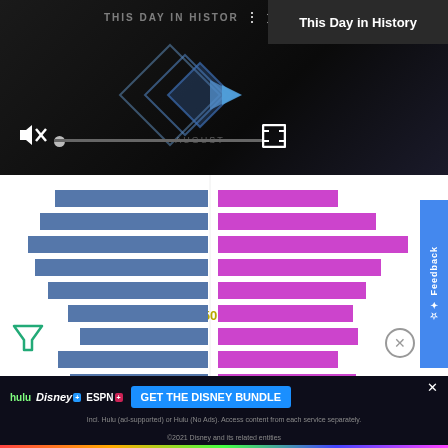[Figure (screenshot): Video player showing 'This Day in History' with playback controls, mute button, progress bar, and fullscreen button on dark background]
This Day in History
[Figure (bar-chart): Horizontal mirrored bar chart with blue bars on left and purple/magenta bars on right, center label '50', representing population or demographic data pyramid]
[Figure (screenshot): Advertisement banner for Disney Bundle featuring Hulu, Disney+, ESPN+ logos with 'GET THE DISNEY BUNDLE' CTA button and fine print about subscription terms]